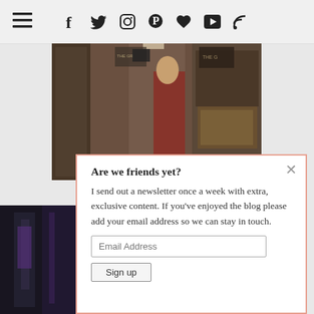Navigation header with hamburger menu and social icons: f (Facebook), Twitter bird, Instagram camera, Pinterest, heart, play button, RSS
[Figure (photo): Photo of a woman in a red dress standing in a jewelry store with display cases and branded signage visible]
[Figure (photo): Partial photo of a dark interior space, bottom left of page]
Are we friends yet?
I send out a newsletter once a week with extra, exclusive content. If you've enjoyed the blog please add your email address so we can stay in touch.